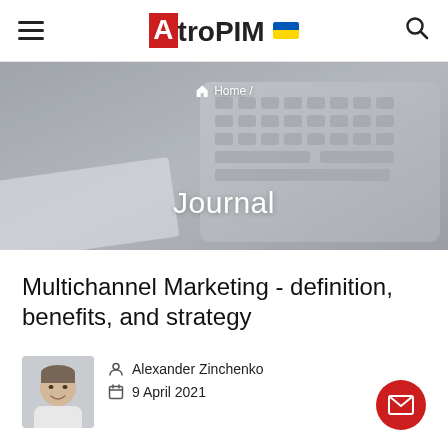AtroPIM
[Figure (photo): Hero banner with blurred keyboard background showing 'Journal' title and breadcrumb 'Home /']
Multichannel Marketing - definition, benefits, and strategy
Alexander Zinchenko
9 April 2021